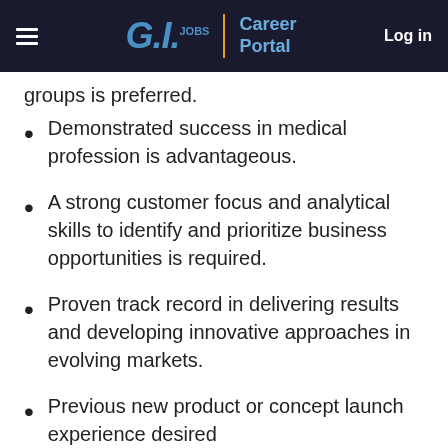G.I. Jobs | Career Portal  Log in
groups is preferred.
Demonstrated success in medical profession is advantageous.
A strong customer focus and analytical skills to identify and prioritize business opportunities is required.
Proven track record in delivering results and developing innovative approaches in evolving markets.
Previous new product or concept launch experience desired